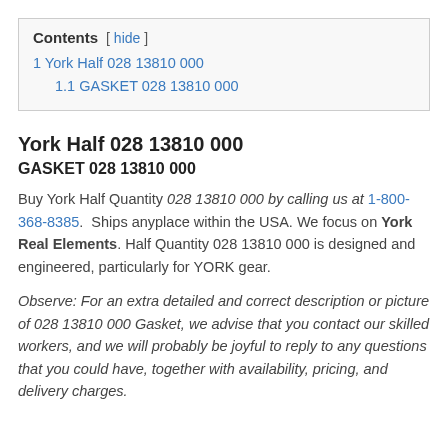1 York Half 028 13810 000
1.1 GASKET 028 13810 000
York Half 028 13810 000
GASKET 028 13810 000
Buy York Half Quantity 028 13810 000 by calling us at 1-800-368-8385. Ships anyplace within the USA. We focus on York Real Elements. Half Quantity 028 13810 000 is designed and engineered, particularly for YORK gear.
Observe: For an extra detailed and correct description or picture of 028 13810 000 Gasket, we advise that you contact our skilled workers, and we will probably be joyful to reply to any questions that you could have, together with availability, pricing, and delivery charges.